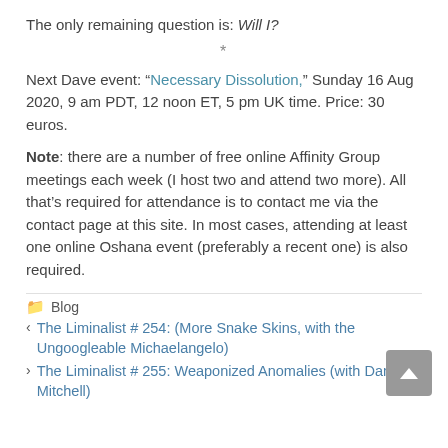The only remaining question is: Will I?
*
Next Dave event: “Necessary Dissolution,” Sunday 16 Aug 2020, 9 am PDT, 12 noon ET, 5 pm UK time. Price: 30 euros.
Note: there are a number of free online Affinity Group meetings each week (I host two and attend two more). All that’s required for attendance is to contact me via the contact page at this site. In most cases, attending at least one online Oshana event (preferably a recent one) is also required.
Blog
< The Liminalist # 254: (More Snake Skins, with the Ungoogleable Michaelangelo)
> The Liminalist # 255: Weaponized Anomalies (with Dan Mitchell)